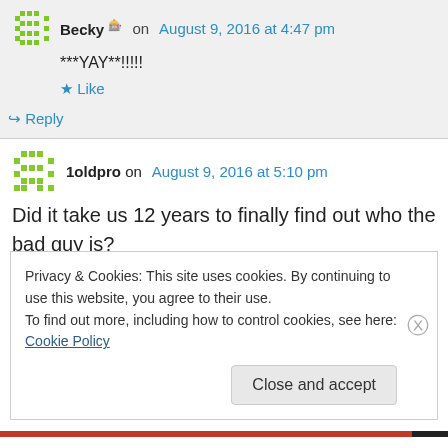Becky on August 9, 2016 at 4:47 pm
***YAY**!!!!!
Like
Reply
1oldpro on August 9, 2016 at 5:10 pm
Did it take us 12 years to finally find out who the bad guy is?
Privacy & Cookies: This site uses cookies. By continuing to use this website, you agree to their use.
To find out more, including how to control cookies, see here: Cookie Policy
Close and accept